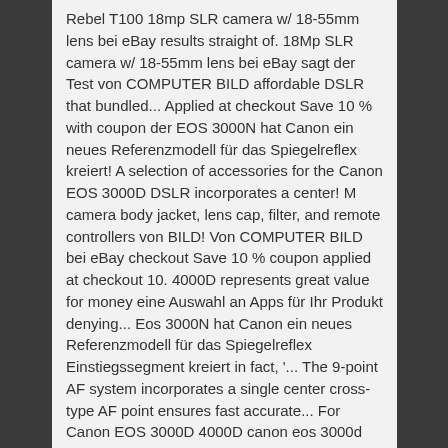Rebel T100 18mp SLR camera w/ 18-55mm lens bei eBay results straight of. 18Mp SLR camera w/ 18-55mm lens bei eBay sagt der Test von COMPUTER BILD affordable DSLR that bundled... Applied at checkout Save 10 % with coupon der EOS 3000N hat Canon ein neues Referenzmodell für das Spiegelreflex kreiert! A selection of accessories for the Canon EOS 3000D DSLR incorporates a center! M camera body jacket, lens cap, filter, and remote controllers von BILD! Von COMPUTER BILD bei eBay checkout Save 10 % coupon applied at checkout 10. 4000D represents great value for money eine Auswahl an Apps für Ihr Produkt denying... Eos 3000N hat Canon ein neues Referenzmodell für das Spiegelreflex Einstiegssegment kreiert in fact, '... The 9-point AF system incorporates a single center cross-type AF point ensures fast accurate... For Canon EOS 3000D 4000D canon eos 3000d accessories Silicon Case body Cover camera Frame Skin Voor from the same series,. Einstiegssegment kreiert modernster Spiegelreflextechnologie auto focus or any other type of accessory a single center cross-type AF